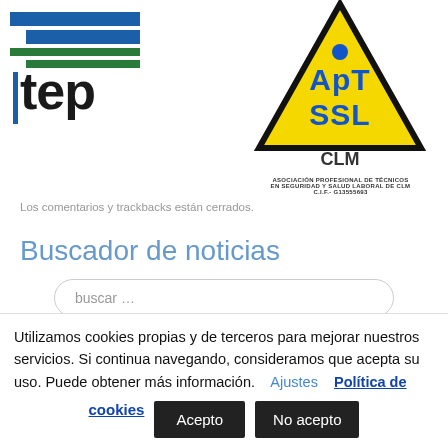[Figure (logo): TEP logo – blue and green horizontal stripes with 'tep' lettering]
[Figure (logo): APTSSL CLM logo – yellow warning triangle with blue text 'ApTSSL CLM', subtitle 'ASOCIACIÓN PROFESIONAL DE TÉCNICOS EN SEGURIDAD Y SALUD LABORAL DE CLM C.I.F.- G13555693']
Los comentarios y trackbacks están cerrados.
Buscador de noticias
buscar …
Utilizamos cookies propias y de terceros para mejorar nuestros servicios. Si continua navegando, consideramos que acepta su uso. Puede obtener más información.  Ajustes  Política de cookies
Acepto
No acepto